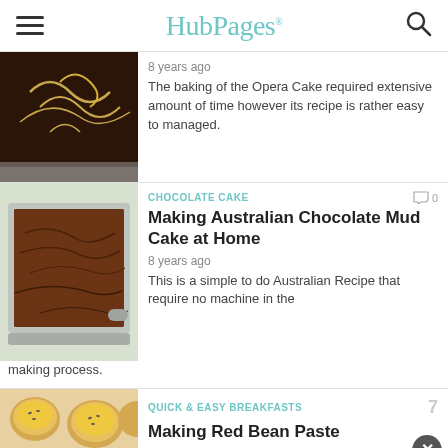HubPages
[Figure (photo): Opera cake slice with gold decorative swirls on dark chocolate background]
8 years ago
The baking of the Opera Cake required extensive amount of time however its recipe is rather easy to managed.
CHOCOLATE CAKE
0
Making Australian Chocolate Mud Cake at Home
[Figure (photo): Chocolate mud cake in a square baking pan]
8 years ago
This is a simple to do Australian Recipe that require no machine in the making process.
QUICK & EASY BREAKFASTS
Making Red Bean Paste
[Figure (photo): Small round baked buns with sesame seeds, partially visible]